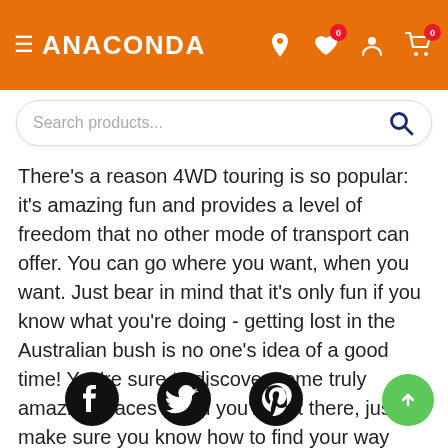ANACONDA
[Figure (screenshot): Search bar with placeholder text 'Search products...' and a search icon]
There's a reason 4WD touring is so popular: it's amazing fun and provides a level of freedom that no other mode of transport can offer. You can go where you want, when you want. Just bear in mind that it's only fun if you know what you're doing - getting lost in the Australian bush is no one's idea of a good time! You're sure to discover some truly amazing places when you're out there, just make sure you know how to find your way home too.
Social media icons: Facebook, Twitter, Pinterest